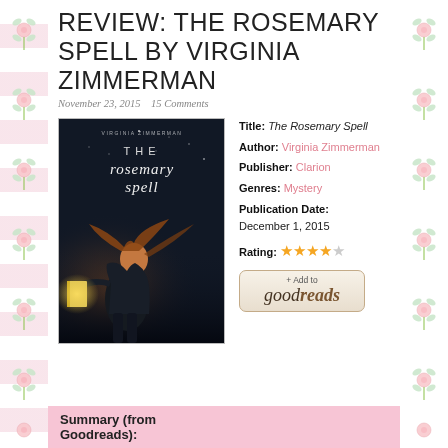REVIEW: THE ROSEMARY SPELL BY VIRGINIA ZIMMERMAN
November 23, 2015   15 Comments
[Figure (illustration): Book cover of The Rosemary Spell by Virginia Zimmerman, showing a girl holding a glowing book against a dark, mystical background]
Title: The Rosemary Spell
Author: Virginia Zimmerman
Publisher: Clarion
Genres: Mystery
Publication Date: December 1, 2015
Rating: 4 out of 5 stars
[Figure (other): Goodreads +Add to goodreads button]
Summary (from Goodreads):